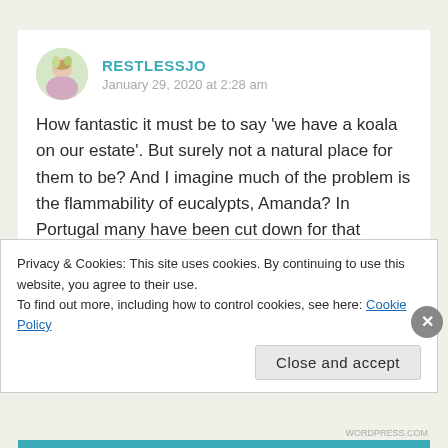[Figure (photo): Circular avatar photo of user RestlessJo, showing a person outdoors with green foliage background]
RESTLESSJO
January 29, 2020 at 2:28 am
How fantastic it must be to say 'we have a koala on our estate'. But surely not a natural place for them to be? And I imagine much of the problem is the flammability of eucalypts, Amanda? In Portugal many have been cut down for that reason. Maybe a reserve, with plentiful trees. but not a threat to humans. to
Privacy & Cookies: This site uses cookies. By continuing to use this website, you agree to their use.
To find out more, including how to control cookies, see here: Cookie Policy
Close and accept